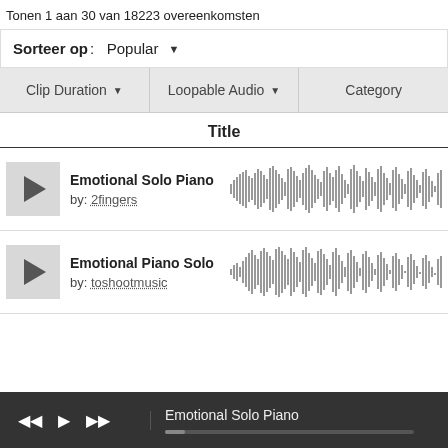Tonen 1 aan 30 van 18223 overeenkomsten
Sorteer op : Popular
Clip Duration | Loopable Audio | Category
Title
Emotional Solo Piano
by: 2fingers
[Figure (other): Audio waveform visualization for Emotional Solo Piano]
Emotional Piano Solo
by: toshootmusic
[Figure (other): Audio waveform visualization for Emotional Piano Solo]
Emotional Solo Piano (player bar)